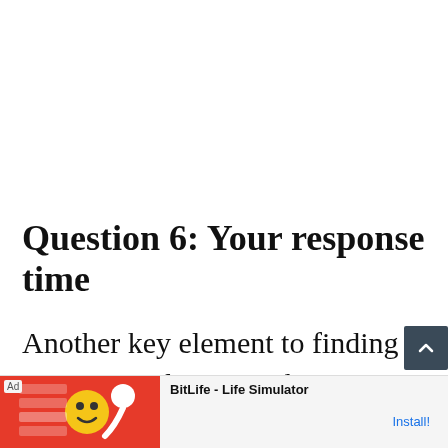Question 6: Your response time
Another key element to finding success on the Upwork platform is being as responsive as possible to job invites.
[Figure (screenshot): Dark teal scroll-to-top button with upward chevron arrow]
[Figure (screenshot): Advertisement banner for BitLife - Life Simulator app showing red game graphics, Ad label, app name, and Install! button]